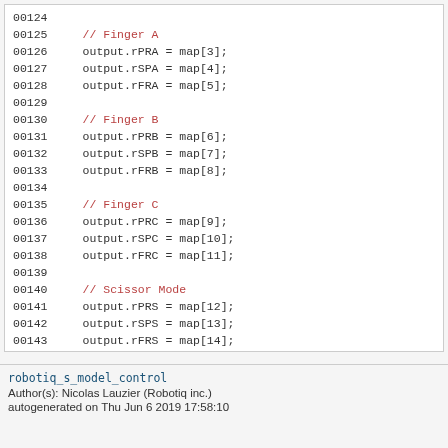[Figure (screenshot): Source code listing showing lines 00124–00147 of a C++ file. Lines include Finger A, Finger B, Finger C, and Scissor Mode output assignments from a map array, followed by return output; and closing braces.]
robotiq_s_model_control
Author(s): Nicolas Lauzier (Robotiq inc.)
autogenerated on Thu Jun 6 2019 17:58:10